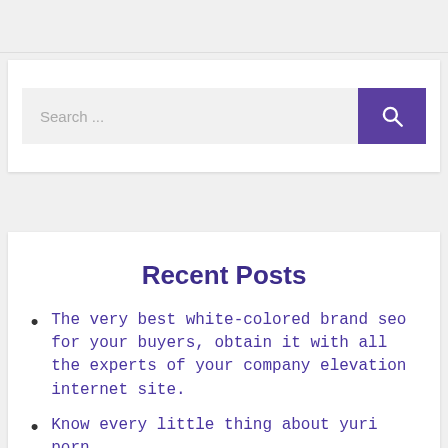[Figure (other): Search widget with text input field showing 'Search ...' placeholder and a purple search button with magnifying glass icon]
Recent Posts
The very best white-colored brand seo for your buyers, obtain it with all the experts of your company elevation internet site.
Know every little thing about yuri porn